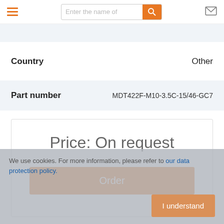Navigation bar with hamburger menu, search input 'Enter the name of', search button, and envelope icon
| Field | Value |
| --- | --- |
| Country | Other |
| Part number | MDT422F-M10-3.5C-15/46-GC7 |
Price: On request
Order
We use cookies. For more information, please refer to our data protection policy.
I understand